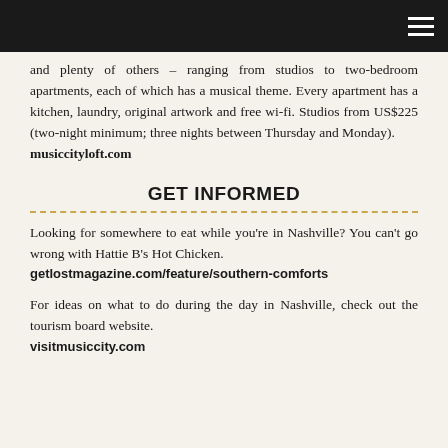and plenty of others – ranging from studios to two-bedroom apartments, each of which has a musical theme. Every apartment has a kitchen, laundry, original artwork and free wi-fi. Studios from US$225 (two-night minimum; three nights between Thursday and Monday). musiccityloft.com
GET INFORMED
Looking for somewhere to eat while you're in Nashville? You can't go wrong with Hattie B's Hot Chicken. getlostmagazine.com/feature/southern-comforts
For ideas on what to do during the day in Nashville, check out the tourism board website. visitmusiccity.com